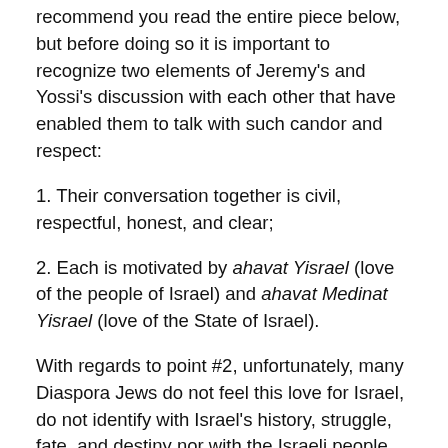recommend you read the entire piece below, but before doing so it is important to recognize two elements of Jeremy's and Yossi's discussion with each other that have enabled them to talk with such candor and respect:
1. Their conversation together is civil, respectful, honest, and clear;
2. Each is motivated by ahavat Yisrael (love of the people of Israel) and ahavat Medinat Yisrael (love of the State of Israel).
With regards to point #2, unfortunately, many Diaspora Jews do not feel this love for Israel, do not identify with Israel's history, struggle, fate, and destiny nor with the Israeli people, and identify policies of the Israeli government with the meaning of the Jewish state. When they criticize Israel, therefore, they do not do so from a